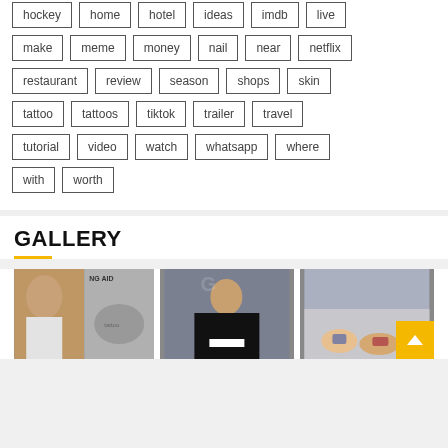hockey, home, hotel, ideas, imdb, live
make, meme, money, nail, near, netflix
restaurant, review, season, shops, skin
tattoo, tattoos, tiktok, trailer, travel
tutorial, video, watch, whatsapp, where
with, worth
GALLERY
[Figure (photo): Three gallery images showing a woman, a tattoo closeup, a TV presenter, and tattooed feet with a back-to-top button]